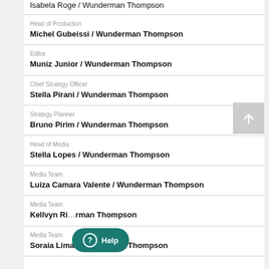Isabela Roge / Wunderman Thompson
Head of Production
Michel Gubeissi / Wunderman Thompson
Editor
Muniz Junior / Wunderman Thompson
Chief Strategy Officer
Stella Pirani / Wunderman Thompson
Strategy Planner
Bruno Pirim / Wunderman Thompson
Head of Media
Stella Lopes / Wunderman Thompson
Media Team
Luiza Camara Valente / Wunderman Thompson
Media Team
Kellvyn Ri... / Wunderman Thompson
Media Team
Soraia Lima / Wunderman Thompson